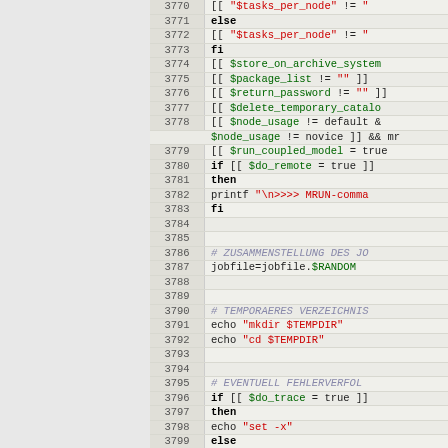[Figure (screenshot): Source code listing in a shell/bash script, lines 3770-3801, with line numbers in a left column and syntax-highlighted code on the right. Keywords in bold black, variables in green, strings in red, comments in italic blue-grey.]